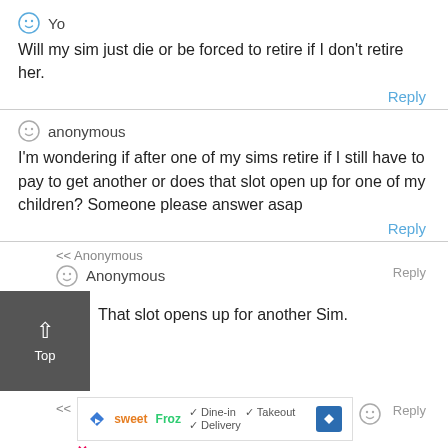Yo
Will my sim just die or be forced to retire if I don't retire her.
Reply
anonymous
I'm wondering if after one of my sims retire if I still have to pay to get another or does that slot open up for one of my children? Someone please answer asap
Reply
<< Anonymous
Anonymous
That slot opens up for another Sim.
Reply
[Figure (infographic): Advertisement banner for SweetFroz showing Dine-in, Takeout, Delivery options with a blue navigation arrow icon.]